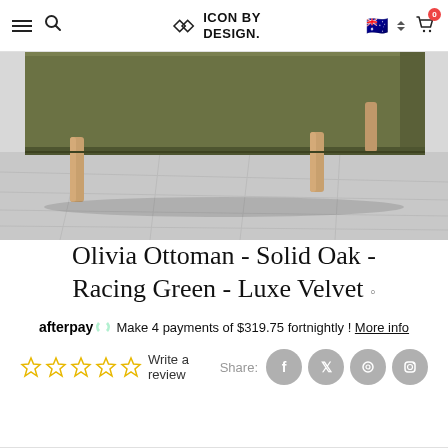Icon By Design — navigation header with hamburger menu, search, logo, flag, and cart
[Figure (photo): Close-up product photo of an Olivia Ottoman with a dark olive/racing green flat surface and solid oak wooden legs, shot on a light grey floor]
Olivia Ottoman - Solid Oak - Racing Green - Luxe Velvet
afterpay Make 4 payments of $319.75 fortnightly ! More info
Write a review   Share: